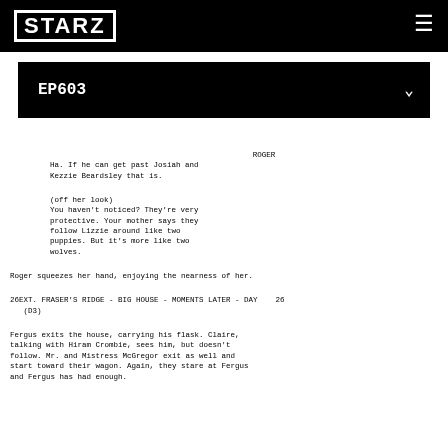STARZ
EP603
ROGER
Ha. If he can get past Josiah and Kezzie Beardsley that is.

(off her look)
You haven't noticed? They're very protective. Your mother says they follow Lizzie around like two puppies. But it's more like two wolves.
Roger squeezes her hand, enjoying the nearness of her.
26EXT. FRASER'S RIDGE - BIG HOUSE - MOMENTS LATER - DAY (D3)   26
Fergus exits the house, carrying his flask. Claire, talking with Hiram Crombie, sees him, but doesn't follow. Mr. and Mistress McGregor exit as well and start toward their wagon. Again, they stare at Fergus and Fergus has had enough.